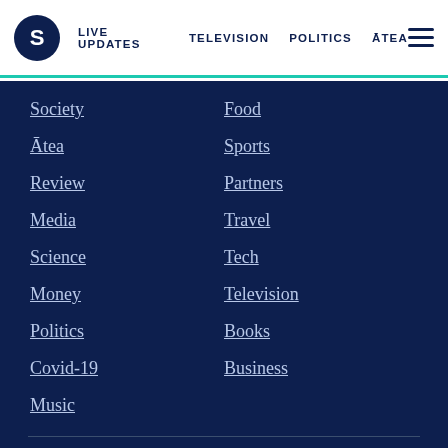S | LIVE UPDATES | TELEVISION | POLITICS | ĀTEA ☰
Society
Food
Ātea
Sports
Review
Partners
Media
Travel
Science
Tech
Money
Television
Politics
Books
Covid-19
Business
Music
MORE...
ABOUT
Videos
Contact